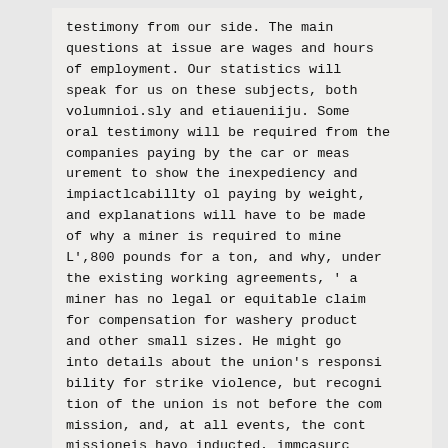testimony from our side. The main questions at issue are wages and hours of employment. Our statistics will speak for us on these subjects, both volumnioi.sly and etiaueniiju. Some oral testimony will be required from the companies paying by the car or meas urement to show the inexpediency and impiactlcabillty ol paying by weight, and explanations will have to be made of why a miner is required to mine L',800 pounds for a ton, and why, under the existing working agreements, ' a miner has no legal or equitable claim for compensation for washery product and other small sizes. He might go into details about the union's responsi bility for strike violence, but recogni tion of the union is not before the com mission, and, at all events, the cont missioneis havo inducted, immcasurc ablv, that strike violence to their mind has little beuuing on the case in hand " About Boycotting.